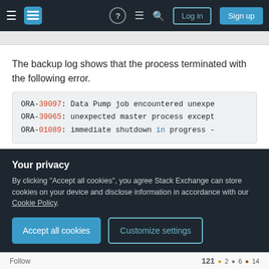Stack Exchange navigation bar with Log in and Sign up buttons
The backup log shows that the process terminated with the following error.
ORA-39097: Data Pump job encountered unexpe
ORA-39065: unexpected master process except
ORA-01089: immediate shutdown in progress -
But, fortunately the necessary tables are seen as exported. Are there any ways by which I can restore those tables or can I import those tables?
Your privacy
By clicking "Accept all cookies", you agree Stack Exchange can store cookies on your device and disclose information in accordance with our Cookie Policy.
Follow    121  2  6  14